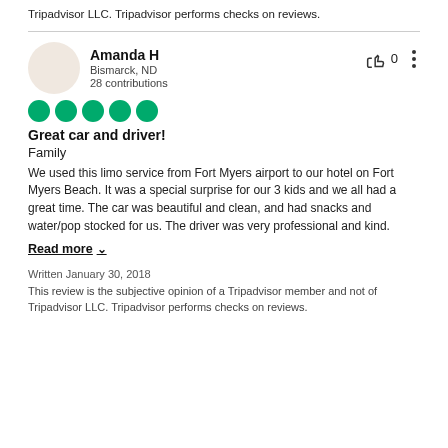Tripadvisor LLC. Tripadvisor performs checks on reviews.
Amanda H
Bismarck, ND
28 contributions
[Figure (other): Five green circle rating dots (5-star rating)]
Great car and driver!
Family
We used this limo service from Fort Myers airport to our hotel on Fort Myers Beach. It was a special surprise for our 3 kids and we all had a great time. The car was beautiful and clean, and had snacks and water/pop stocked for us. The driver was very professional and kind.
Read more
Written January 30, 2018
This review is the subjective opinion of a Tripadvisor member and not of Tripadvisor LLC. Tripadvisor performs checks on reviews.